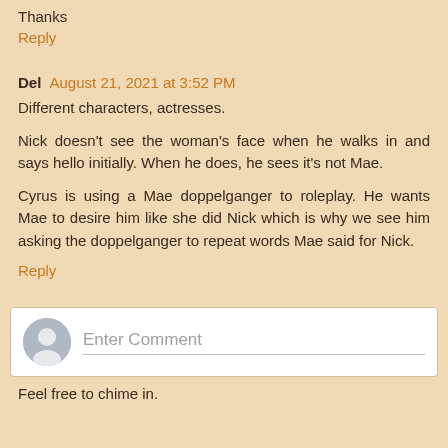Thanks
Reply
Del  August 21, 2021 at 3:52 PM
Different characters, actresses.
Nick doesn't see the woman's face when he walks in and says hello initially. When he does, he sees it's not Mae.
Cyrus is using a Mae doppelganger to roleplay. He wants Mae to desire him like she did Nick which is why we see him asking the doppelganger to repeat words Mae said for Nick.
Reply
Enter Comment
Feel free to chime in.